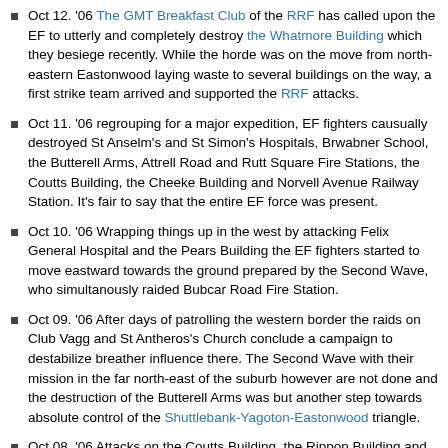Oct 12. '06 The GMT Breakfast Club of the RRF has called upon the EF to utterly and completely destroy the Whatmore Building which they besiege recently. While the horde was on the move from north-eastern Eastonwood laying waste to several buildings on the way, a first strike team arrived and supported the RRF attacks.
Oct 11. '06 regrouping for a major expedition, EF fighters causually destroyed St Anselm's and St Simon's Hospitals, Brwabner School, the Butterell Arms, Attrell Road and Rutt Square Fire Stations, the Coutts Building, the Cheeke Building and Norvell Avenue Railway Station. It's fair to say that the entire EF force was present.
Oct 10. '06 Wrapping things up in the west by attacking Felix General Hospital and the Pears Building the EF fighters started to move eastward towards the ground prepared by the Second Wave, who simultanously raided Bubcar Road Fire Station.
Oct 09. '06 After days of patrolling the western border the raids on Club Vagg and St Antheros's Church conclude a campaign to destabilize breather influence there. The Second Wave with their mission in the far north-east of the suburb however are not done and the destruction of the Butterell Arms was but another step towards absolute control of the Shuttlebank-Yagoton-Eastonwood triangle.
Oct 08. '06 Attacks on the Coutts Building, the Rippon Building and Lance Towers inflicted major damage at harman capabilities within the area. The war goes on smooth for the EF and their allies but is far from